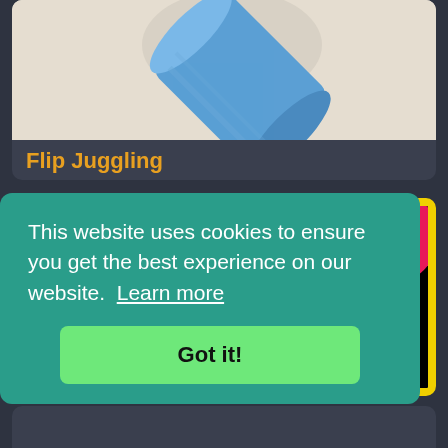[Figure (screenshot): App card showing a blue cup/cylinder tilted on a light beige background, part of a mobile game listing for Flip Juggling]
Flip Juggling
[Figure (screenshot): Game screenshot with black background, yellow border, showing colorful diagonal shapes: pink rectangle, blue rectangle, and pink semicircle with yellow circle in center]
This website uses cookies to ensure you get the best experience on our website. Learn more
Got it!